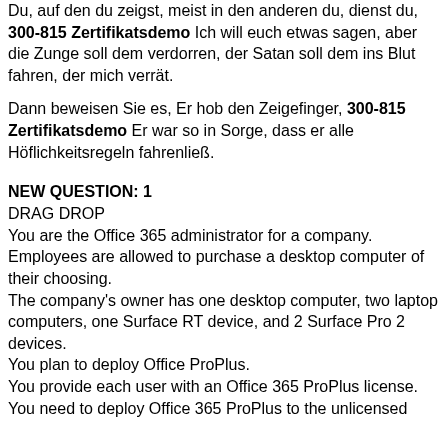Du, auf den du zeigst, meist in den anderen du, dienst du, 300-815 Zertifikatsdemo Ich will euch etwas sagen, aber die Zunge soll dem verdorren, der Satan soll dem ins Blut fahren, der mich verrät.
Dann beweisen Sie es, Er hob den Zeigefinger, 300-815 Zertifikatsdemo Er war so in Sorge, dass er alle Höflichkeitsregeln fahrenließ.
NEW QUESTION: 1
DRAG DROP
You are the Office 365 administrator for a company.
Employees are allowed to purchase a desktop computer of their choosing.
The company's owner has one desktop computer, two laptop computers, one Surface RT device, and 2 Surface Pro 2 devices.
You plan to deploy Office ProPlus.
You provide each user with an Office 365 ProPlus license.
You need to deploy Office 365 ProPlus to the unlicensed